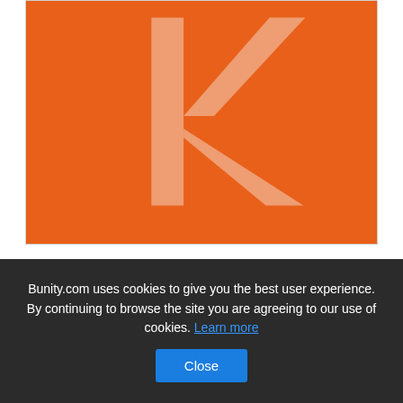[Figure (logo): Orange square logo with a large light salmon/pink letter K centered on an orange background. Kanavas Law Professional Corporation logo.]
Kanavas Law Professional Corporation
Bunity.com uses cookies to give you the best user experience. By continuing to browse the site you are agreeing to our use of cookies. Learn more